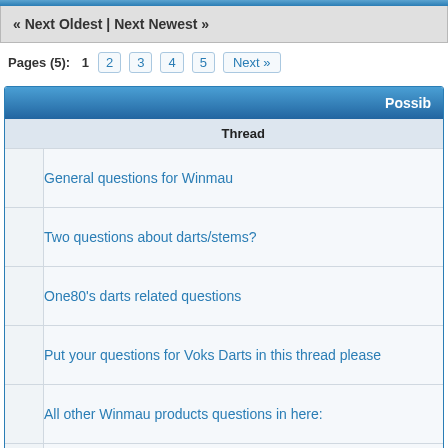« Next Oldest | Next Newest »
Pages (5): 1  2  3  4  5  Next »
| Thread |
| --- |
| General questions for Winmau |
| Two questions about darts/stems? |
| One80's darts related questions |
| Put your questions for Voks Darts in this thread please |
| All other Winmau products questions in here: |
| General questions relating to One80 darts |
View a Printable Version